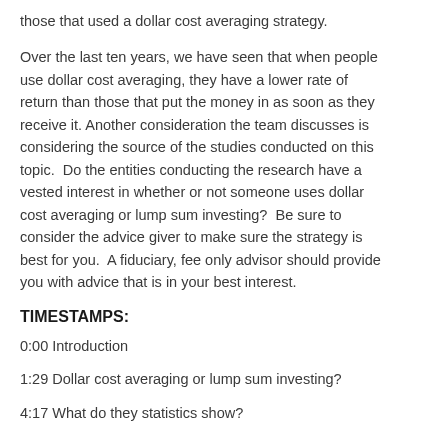those that used a dollar cost averaging strategy.
Over the last ten years, we have seen that when people use dollar cost averaging, they have a lower rate of return than those that put the money in as soon as they receive it. Another consideration the team discusses is considering the source of the studies conducted on this topic.  Do the entities conducting the research have a vested interest in whether or not someone uses dollar cost averaging or lump sum investing?  Be sure to consider the advice giver to make sure the strategy is best for you.  A fiduciary, fee only advisor should provide you with advice that is in your best interest.
TIMESTAMPS:
0:00 Introduction
1:29 Dollar cost averaging or lump sum investing?
4:17 What do they statistics show?